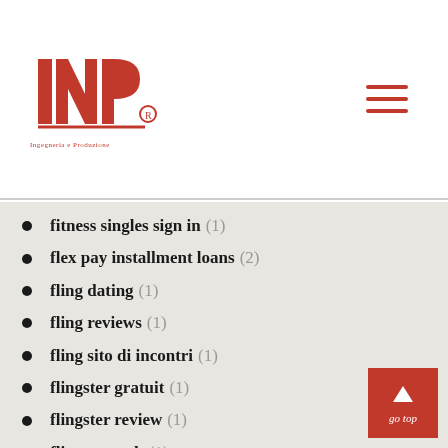INP logo and navigation menu
fitness singles sign in (1)
flex pay installment loans (2)
fling dating (1)
fling reviews (1)
fling sito di incontri (1)
flingster gratuit (1)
flingster review (1)
flingster web (1)
flirt app (1)
flirt come funziona (1)
flirt como funciona (1)